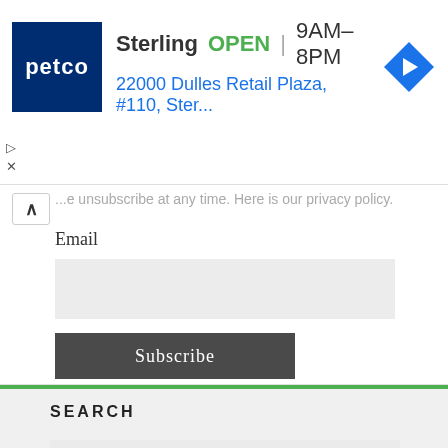[Figure (other): Petco advertisement banner showing store location: Sterling, OPEN, 9AM-8PM, 22000 Dulles Retail Plaza, #110, Ster... with navigation icon]
Email
Subscribe
SEARCH
Search...
Go